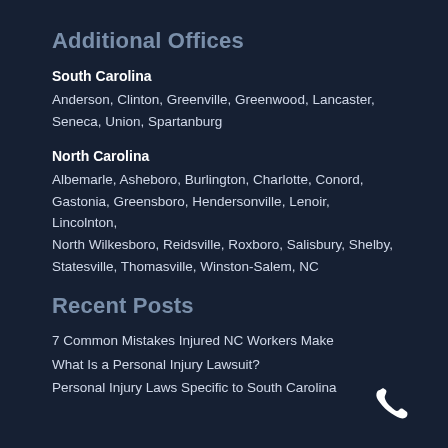Additional Offices
South Carolina
Anderson, Clinton, Greenville, Greenwood, Lancaster, Seneca, Union, Spartanburg
North Carolina
Albemarle, Asheboro, Burlington, Charlotte, Conord, Gastonia, Greensboro, Hendersonville, Lenoir, Lincolnton, North Wilkesboro, Reidsville, Roxboro, Salisbury, Shelby, Statesville, Thomasville, Winston-Salem, NC
Recent Posts
7 Common Mistakes Injured NC Workers Make
What Is a Personal Injury Lawsuit?
Personal Injury Laws Specific to South Carolina